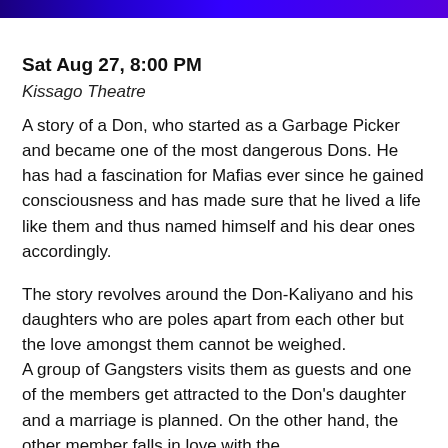[Figure (other): Blue/purple gradient banner strip at top of page]
Sat Aug 27, 8:00 PM
Kissago Theatre
A story of a Don, who started as a Garbage Picker and became one of the most dangerous Dons. He has had a fascination for Mafias ever since he gained consciousness and has made sure that he lived a life like them and thus named himself and his dear ones accordingly.
The story revolves around the Don-Kaliyano and his daughters who are poles apart from each other but the love amongst them cannot be weighed.
A group of Gangsters visits them as guests and one of the members get attracted to the Don’s daughter and a marriage is planned. On the other hand, the other member falls in love with the